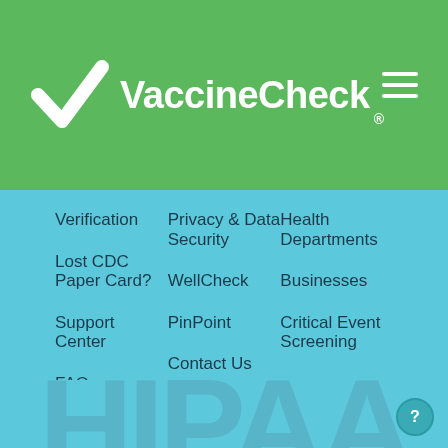[Figure (logo): VaccineCheck logo with white checkmark and brand name on green header bar]
Verification
Lost CDC Paper Card?
Support Center
FAQ
Privacy & Data Security
WellCheck
PinPoint
Contact Us
Health Departments
Businesses
Critical Event Screening
[Figure (watermark): Large semi-transparent HIPAA watermark text in the lower portion of the page]